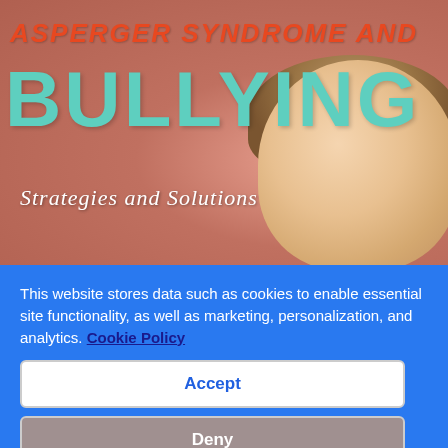[Figure (photo): Book cover for 'Asperger Syndrome and Bullying: Strategies and Solutions' showing the back of a child's head against a terracotta/salmon colored textured wall. Large teal text reads BULLYING, orange-red text reads ASPERGER SYNDROME AND, white italic text reads Strategies and Solutions.]
This website stores data such as cookies to enable essential site functionality, as well as marketing, personalization, and analytics. Cookie Policy
Accept
Deny